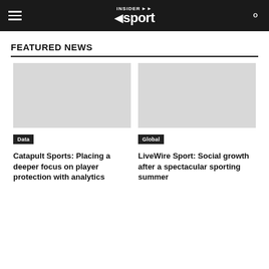INSIDER sport
FEATURED NEWS
[Figure (other): Placeholder image for Catapult Sports article]
Data
Catapult Sports: Placing a deeper focus on player protection with analytics
[Figure (other): Placeholder image for LiveWire Sport article]
Global
LiveWire Sport: Social growth after a spectacular sporting summer